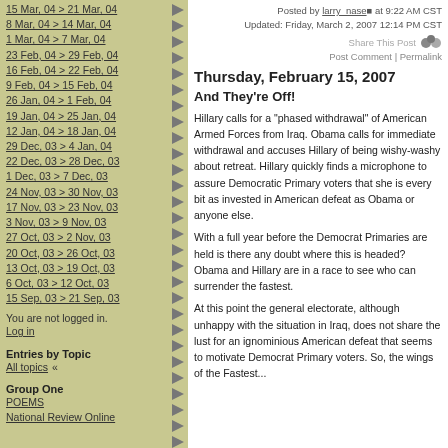15 Mar, 04 > 21 Mar, 04
8 Mar, 04 > 14 Mar, 04
1 Mar, 04 > 7 Mar, 04
23 Feb, 04 > 29 Feb, 04
16 Feb, 04 > 22 Feb, 04
9 Feb, 04 > 15 Feb, 04
26 Jan, 04 > 1 Feb, 04
19 Jan, 04 > 25 Jan, 04
12 Jan, 04 > 18 Jan, 04
29 Dec, 03 > 4 Jan, 04
22 Dec, 03 > 28 Dec, 03
1 Dec, 03 > 7 Dec, 03
24 Nov, 03 > 30 Nov, 03
17 Nov, 03 > 23 Nov, 03
3 Nov, 03 > 9 Nov, 03
27 Oct, 03 > 2 Nov, 03
20 Oct, 03 > 26 Oct, 03
13 Oct, 03 > 19 Oct, 03
6 Oct, 03 > 12 Oct, 03
15 Sep, 03 > 21 Sep, 03
You are not logged in.
Log in
Entries by Topic
All topics  «
Group One
POEMS
National Review Online
Posted by larry_nase at 9:22 AM CST
Updated: Friday, March 2, 2007 12:14 PM CST
Share This Post
Post Comment | Permalink
Thursday, February 15, 2007
And They're Off!
Hillary calls for a "phased withdrawal" of American Armed Forces from Iraq. Obama calls for immediate withdrawal and accuses Hillary of being wishy-washy about retreat. Hillary quickly finds a microphone to assure Democratic Primary voters that she is every bit as invested in American defeat as Obama or anyone else.
With a full year before the Democrat Primaries are held is there any doubt where this is headed? Obama and Hillary are in a race to see who can surrender the fastest.
At this point the general electorate, although unhappy with the situation in Iraq, does not share the lust for an ignominious American defeat that seems to motivate Democrat Primary voters. So, the wings of the Fastest...